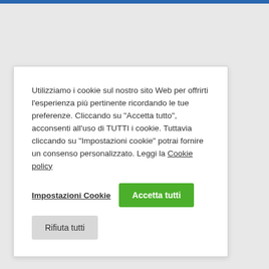Utilizziamo i cookie sul nostro sito Web per offrirti l'esperienza più pertinente ricordando le tue preferenze. Cliccando su "Accetta tutto", acconsenti all'uso di TUTTI i cookie. Tuttavia cliccando su "Impostazioni cookie" potrai fornire un consenso personalizzato. Leggi la Cookie policy
Impostazioni Cookie | Accetta tutti
Rifiuta tutti